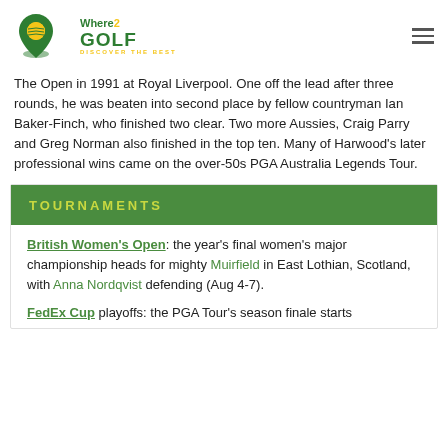Where2Golf - Discover the Best
The Open in 1991 at Royal Liverpool. One off the lead after three rounds, he was beaten into second place by fellow countryman Ian Baker-Finch, who finished two clear. Two more Aussies, Craig Parry and Greg Norman also finished in the top ten. Many of Harwood's later professional wins came on the over-50s PGA Australia Legends Tour.
TOURNAMENTS
British Women's Open: the year's final women's major championship heads for mighty Muirfield in East Lothian, Scotland, with Anna Nordqvist defending (Aug 4-7).
FedEx Cup playoffs: the PGA Tour's season finale starts